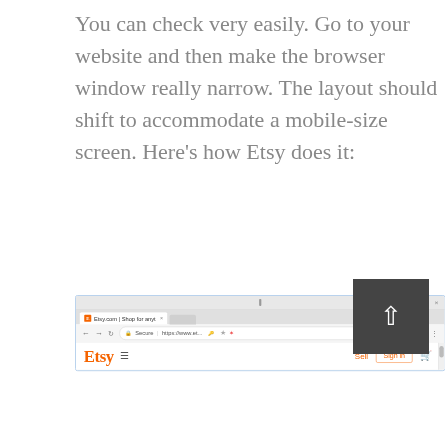You can check very easily. Go to your website and then make the browser window really narrow. The layout should shift to accommodate a mobile-size screen. Here's how Etsy does it:
[Figure (screenshot): Screenshot of the Etsy website in a Chrome browser window showing the mobile-sized layout with the Etsy logo, hamburger menu, Sell link, Sign in button, and shopping cart icon. The browser shows the URL https://www.et... with a Secure indicator.]